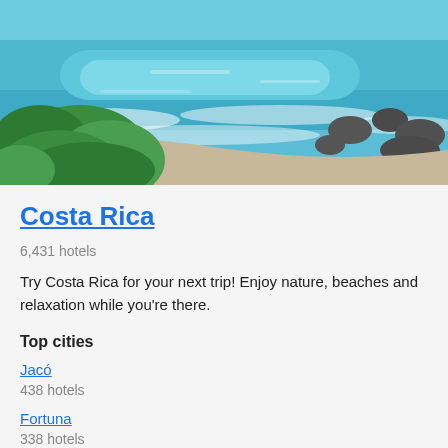[Figure (photo): Coastal beach scene showing turquoise ocean water with waves, rocks, and tropical green vegetation in the foreground]
Costa Rica
6,431 hotels
Try Costa Rica for your next trip! Enjoy nature, beaches and relaxation while you're there.
Top cities
Jacó
438 hotels
Fortuna
338 hotels
Top hotels